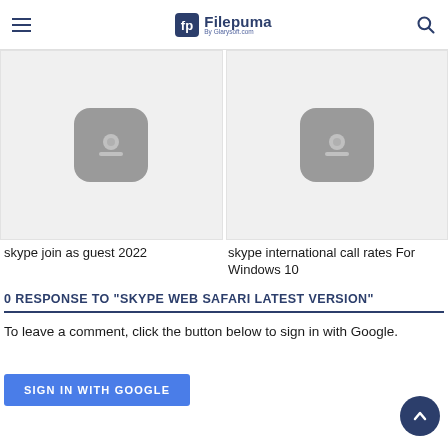Filepuma by Glarysoft.com
[Figure (screenshot): Two software card thumbnails with gray placeholder icons on light gray backgrounds, side by side]
skype join as guest 2022
skype international call rates For Windows 10
0 RESPONSE TO "SKYPE WEB SAFARI LATEST VERSION"
To leave a comment, click the button below to sign in with Google.
SIGN IN WITH GOOGLE